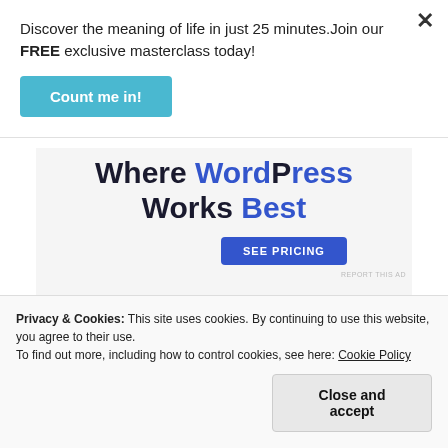Discover the meaning of life in just 25 minutes.Join our FREE exclusive masterclass today!
[Figure (other): Blue CTA button labeled 'Count me in!']
[Figure (other): Ad banner showing 'Where WordPress Works Best' headline with a 'SEE PRICING' blue button and 'REPORT THIS AD' text]
No doubt: we must all read our Bible.
Privacy & Cookies: This site uses cookies. By continuing to use this website, you agree to their use.
To find out more, including how to control cookies, see here: Cookie Policy
[Figure (other): Close and accept button for cookie banner]